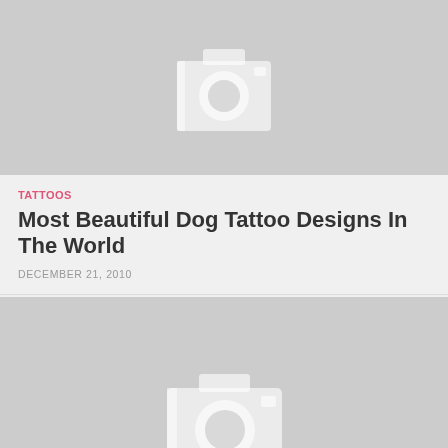[Figure (photo): Placeholder image with camera icon, grey background, top article]
TATTOOS
Most Beautiful Dog Tattoo Designs In The World
DECEMBER 21, 2010
[Figure (photo): Placeholder image with camera icon, grey background, bottom article]